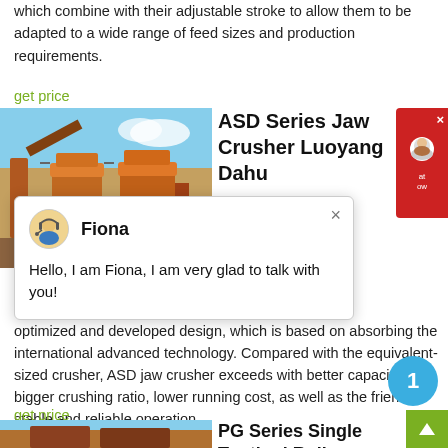which combine with their adjustable stroke to allow them to be adapted to a wide range of feed sizes and production requirements.
get price
[Figure (photo): Industrial jaw crusher machinery with conveyor belts against a blue sky]
ASD Series Jaw Crusher Luoyang Dahu
[Figure (screenshot): Chat popup with avatar of Fiona. Header: Fiona. Message: Hello, I am Fiona, I am very glad to talk with you!]
optimized and developed design, which is based on absorbing the international advanced technology. Compared with the equivalent-sized crusher, ASD jaw crusher exceeds with better capacity, bigger crushing ratio, lower running cost, as well as the friendly, stable and reliable operation.
get price
[Figure (photo): PG Series Single Toothed Roll crusher machinery partial view]
PG Series Single Toothed Roll